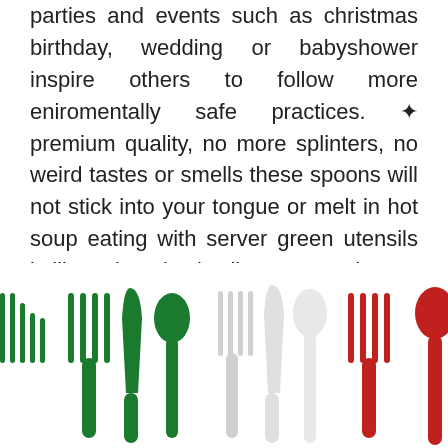parties and events such as christmas birthday, wedding or babyshower inspire others to follow more eniromentally safe practices. ✦ premium quality, no more splinters, no weird tastes or smells these spoons will not stick into your tongue or melt in hot soup eating with server green utensils is like using plastic silverware, only now it is enviromentally friendly you can throw them away responsibly without quilt or even wash and use again if you want to.
[Figure (photo): Photo of green, white, and red colored utensils (forks, knives, spoons) arranged side by side against a white background, partially cropped at the bottom of the page.]